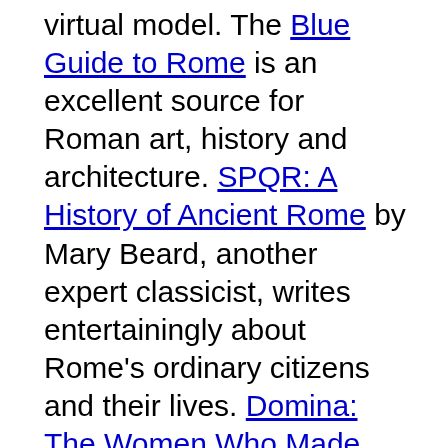virtual model.  The Blue Guide to Rome is an excellent source for Roman art, history and architecture. SPQR: A History of Ancient Rome by Mary Beard, another expert classicist, writes entertainingly about Rome's ordinary citizens and their lives. Domina: The Women Who Made Imperial Rome by Guy de la Bédoyère explores the dynastic power held by the women in the Julio-Claudian Imperial family, as the emperors often had no surviving sons to succeed them. The line of succession was predominately through the female line, beginning with Livia, the wife of Augustus, and continuing until Agrippina the Younger, who was murdered by her infamous son Nero. Rome by Robert Hughes and Rome: